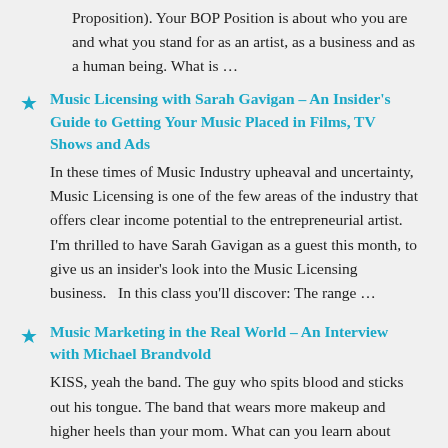Proposition). Your BOP Position is about who you are and what you stand for as an artist, as a business and as a human being. What is …
Music Licensing with Sarah Gavigan – An Insider's Guide to Getting Your Music Placed in Films, TV Shows and Ads
In these times of Music Industry upheaval and uncertainty, Music Licensing is one of the few areas of the industry that offers clear income potential to the entrepreneurial artist. I'm thrilled to have Sarah Gavigan as a guest this month, to give us an insider's look into the Music Licensing business.   In this class you'll discover: The range …
Music Marketing in the Real World – An Interview with Michael Brandvold
KISS, yeah the band. The guy who spits blood and sticks out his tongue. The band that wears more makeup and higher heels than your mom. What can you learn about marketing from them? KISS is alot